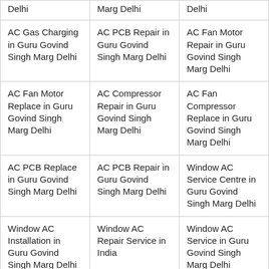| Delhi | Marg Delhi | Delhi |
| AC Gas Charging in Guru Govind Singh Marg Delhi | AC PCB Repair in Guru Govind Singh Marg Delhi | AC Fan Motor Repair in Guru Govind Singh Marg Delhi |
| AC Fan Motor Replace in Guru Govind Singh Marg Delhi | AC Compressor Repair in Guru Govind Singh Marg Delhi | AC Fan Compressor Replace in Guru Govind Singh Marg Delhi |
| AC PCB Replace in Guru Govind Singh Marg Delhi | AC PCB Repair in Guru Govind Singh Marg Delhi | Window AC Service Centre in Guru Govind Singh Marg Delhi |
| Window AC Installation in Guru Govind Singh Marg Delhi | Window AC Repair Service in India | Window AC Service in Guru Govind Singh Marg Delhi |
| Window AC Repair | Window AC Gas | Window AC |